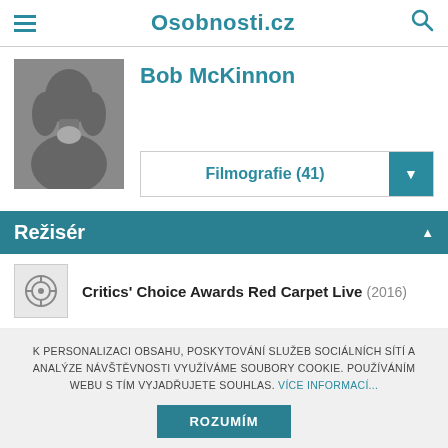Osobnosti.cz
[Figure (photo): Silhouette placeholder photo of a person with medium-length hair]
Bob McKinnon
Filmografie (41)
Režisér
Critics' Choice Awards Red Carpet Live (2016)
K PERSONALIZACI OBSAHU, POSKYTOVÁNÍ SLUŽEB SOCIÁLNÍCH SÍTÍ A ANALÝZE NÁVŠTĚVNOSTI VYUŽÍVÁME SOUBORY COOKIE. POUŽÍVÁNÍM WEBU S TÍM VYJADŘUJETE SOUHLAS. VÍCE INFORMACÍ...
ROZUMÍM